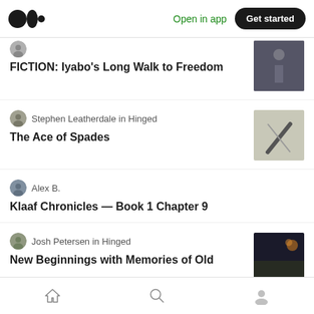Medium — Open in app | Get started
FICTION: Iyabo's Long Walk to Freedom
Stephen Leatherdale in Hinged
The Ace of Spades
Alex B.
Klaaf Chronicles — Book 1 Chapter 9
Josh Petersen in Hinged
New Beginnings with Memories of Old
Rob Reier in Whale Fall
Home | Search | Profile